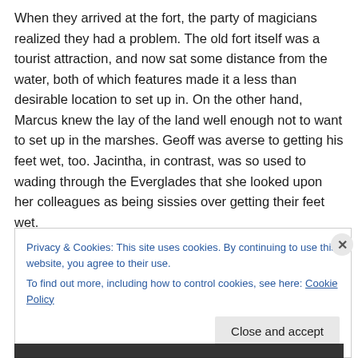When they arrived at the fort, the party of magicians realized they had a problem. The old fort itself was a tourist attraction, and now sat some distance from the water, both of which features made it a less than desirable location to set up in. On the other hand, Marcus knew the lay of the land well enough not to want to set up in the marshes. Geoff was averse to getting his feet wet, too. Jacintha, in contrast, was so used to wading through the Everglades that she looked upon her colleagues as being sissies over getting their feet wet.
Privacy & Cookies: This site uses cookies. By continuing to use this website, you agree to their use.
To find out more, including how to control cookies, see here: Cookie Policy
Close and accept